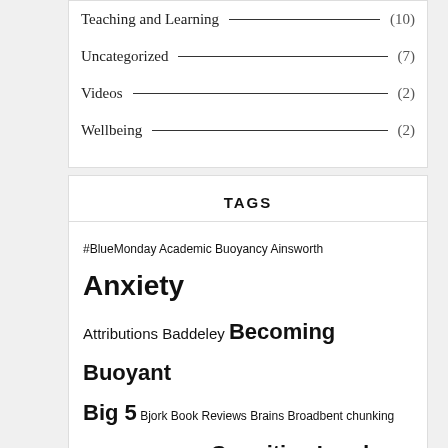Teaching and Learning (10)
Uncategorized (7)
Videos (2)
Wellbeing (2)
TAGS
#BlueMonday Academic Buoyancy Ainsworth Anxiety Attributions Baddeley Becoming Buoyant Big 5 Bjork Book Reviews Brains Broadbent chunking cognitive cognitive load Cognitive Load Theory Cognitive Reappraisal conscientiousness Courses Cowan Craik Diathesis Stress Model Distributed Practice